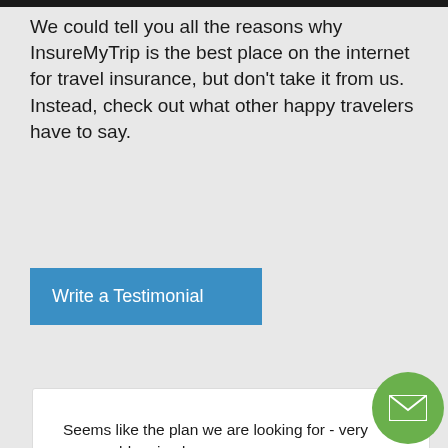We could tell you all the reasons why InsureMyTrip is the best place on the internet for travel insurance, but don't take it from us. Instead, check out what other happy travelers have to say.
Write a Testimonial
Seems like the plan we are looking for - very reasonably priced.
— AnwaraQ
August 01, 2015
Travelers in need of emergency medical/travel assistance never ask how much they paid for their policy. During those stressful times they expect premium service no matter the amount they paid for coverage. Fortunately insuremytrip.com and the companies they choose to